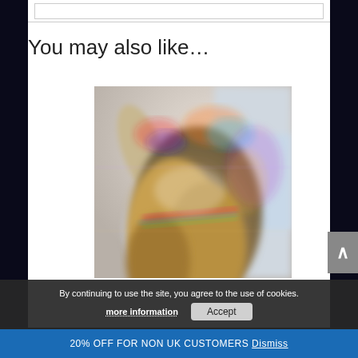You may also like…
[Figure (photo): Blurred/glitched photo of a person with long wavy blonde hair wearing a silver/metallic top, with rainbow chromatic aberration effects]
By continuing to use the site, you agree to the use of cookies.
more information
Accept
20% OFF FOR NON UK CUSTOMERS Dismiss